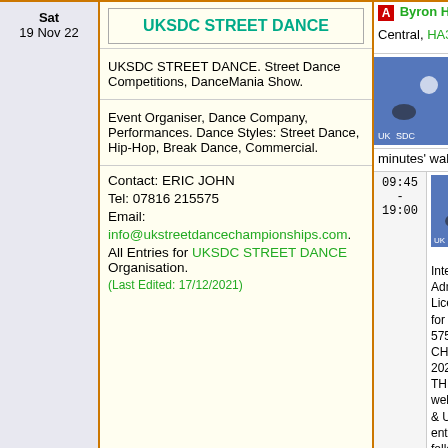Sat
19 Nov 22
UKSDC STREET DANCE
UKSDC STREET DANCE. Street Dance Competitions, DanceMania Show.
Event Organiser, Dance Company, Performances. Dance Styles: Street Dance, Hip-Hop, Break Dance, Commercial.
Contact: ERIC JOHN
Tel: 07816 215575
Email: info@ukstreetdancechampionships.com.
All Entries for UKSDC STREET DANCE Organisation.
(Last Edited: 17/12/2021)
Byron Hall, Christchurch Central, HA3 5BD
Website. Cover the north w... Centre has... over the co... Rail and U... minutes' walk away
09:45 - 19:00
UK... Ch... Str... Co... Da... Intermediate leve... Admission £16.0... Licensed Bar. No... for further details... 575. UKSDC - U... CHAMPIONSHIP... 2022 THE BYRO... THEATRE STYL... welcome from N... & Under up to Ac... entry. Starts with... followed by Duo'... Popping & Break...